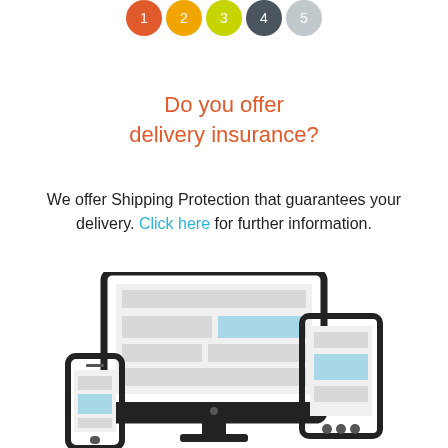[Figure (illustration): Row of colored numbered circle icons at top: red, orange, yellow, green, dark gray, light gray]
Do you offer delivery insurance?
We offer Shipping Protection that guarantees your delivery. Click here for further information.
[Figure (illustration): Responsive web design illustration showing a desktop monitor, tablet, and smartphone with placeholder content blocks in gray and light blue]